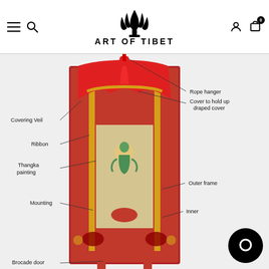[Figure (logo): Art of Tibet logo with stylized flame/lotus crown symbol and text ART OF TIBET]
[Figure (illustration): Annotated diagram of a Tibetan thangka with labeled parts: Rope hanger, Cover to hold up draped cover, Covering Veil, Ribbon, Thangka painting, Outer frame, Mounting, Inner (frame), Brocade door. The thangka features a central painting of Green Tara, surrounded by elaborate red and gold brocade mounting with decorative border.]